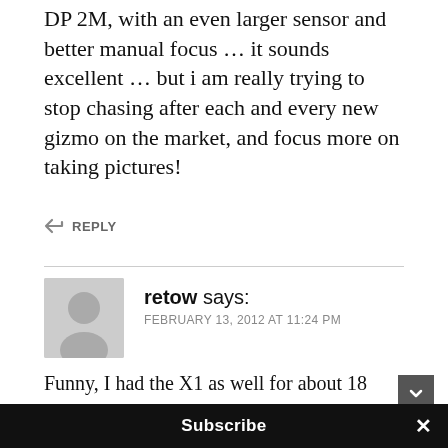DP 2M, with an even larger sensor and better manual focus … it sounds excellent … but i am really trying to stop chasing after each and every new gizmo on the market, and focus more on taking pictures!
↩ REPLY
retow says:
FEBRUARY 13, 2012 AT 11:24 PM
Funny, I had the X1 as well for about 18 months, it replaced a DP2. Since December of last year, however, a DP2x is in my bag, instead of the X1 and I agree with you, as long as light is reasonable, the DP is probably still the best large sensor pocket camera. If higher iso is needed, it becomes an
Subscribe